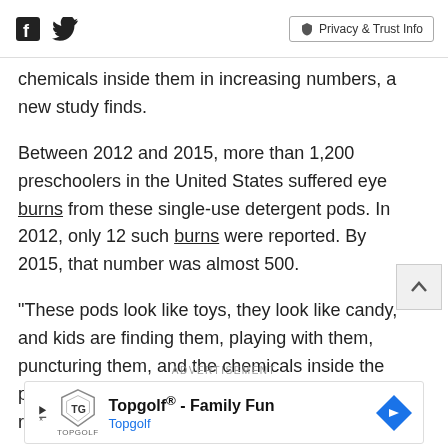[Facebook icon] [Twitter icon] | Privacy & Trust Info
chemicals inside them in increasing numbers, a new study finds.
Between 2012 and 2015, more than 1,200 preschoolers in the United States suffered eye burns from these single-use detergent pods. In 2012, only 12 such burns were reported. By 2015, that number was almost 500.
"These pods look like toys, they look like candy, and kids are finding them, playing with them, puncturing them, and the chemicals inside the pods are getting into their eyes," said lead researcher Dr. R. Sterling
ADVERTISEMENT
[Figure (other): Topgolf advertisement banner with logo, play button, and navigation arrow. Text: Topgolf® - Family Fun, Topgolf]